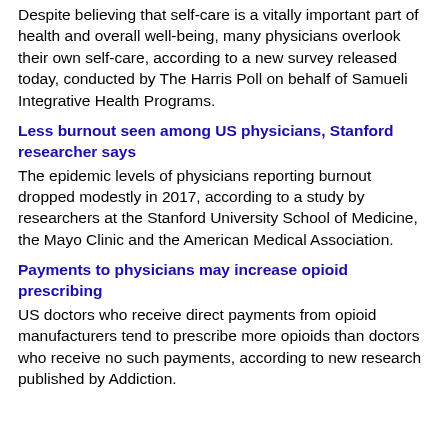Despite believing that self-care is a vitally important part of health and overall well-being, many physicians overlook their own self-care, according to a new survey released today, conducted by The Harris Poll on behalf of Samueli Integrative Health Programs.
Less burnout seen among US physicians, Stanford researcher says
The epidemic levels of physicians reporting burnout dropped modestly in 2017, according to a study by researchers at the Stanford University School of Medicine, the Mayo Clinic and the American Medical Association.
Payments to physicians may increase opioid prescribing
US doctors who receive direct payments from opioid manufacturers tend to prescribe more opioids than doctors who receive no such payments, according to new research published by Addiction.